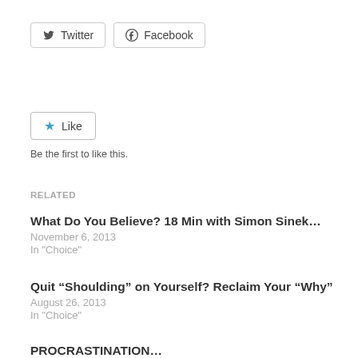[Figure (other): Twitter and Facebook share buttons]
[Figure (other): Like button with blue star icon]
Be the first to like this.
RELATED
What Do You Believe? 18 Min with Simon Sinek…
November 6, 2013
In "Choice"
Quit “Shoulding” on Yourself? Reclaim Your “Why”
August 26, 2013
In "Choice"
PROCRASTINATION…
June 5, 2011
In "Living a Fulfilling Life"